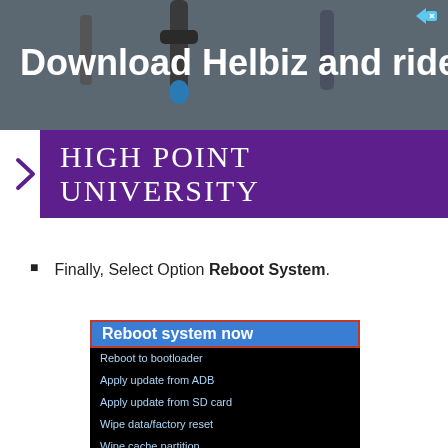[Figure (screenshot): Advertisement banner for Helbiz app showing scooter handlebars in background with text 'Download Helbiz and ride']
[Figure (logo): High Point University logo/banner in purple with white serif text]
Finally, Select Option Reboot System.
[Figure (screenshot): Android recovery menu showing options: Reboot system now (selected/highlighted in blue with red border), Reboot to bootloader, Apply update from ADB, Apply update from SD card, Wipe data/factory reset, Wipe cache partition, Mount / system, View recovery logs, Run graphics test]